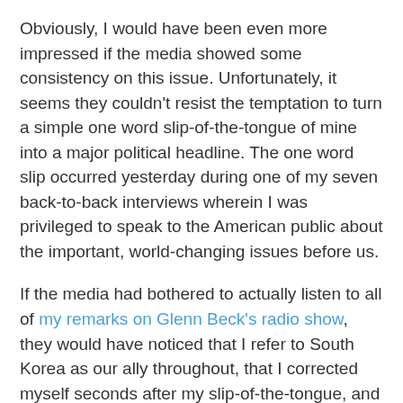Obviously, I would have been even more impressed if the media showed some consistency on this issue. Unfortunately, it seems they couldn't resist the temptation to turn a simple one word slip-of-the-tongue of mine into a major political headline. The one word slip occurred yesterday during one of my seven back-to-back interviews wherein I was privileged to speak to the American public about the important, world-changing issues before us.
If the media had bothered to actually listen to all of my remarks on Glenn Beck's radio show, they would have noticed that I refer to South Korea as our ally throughout, that I corrected myself seconds after my slip-of-the-tongue, and that I made it abundantly clear that pressure should be put on China to restrict energy exports to the North Korean regime. The media could even have done due diligence and checked my previous statements on the subject, which have always been consistent and in fact, were ahead of...